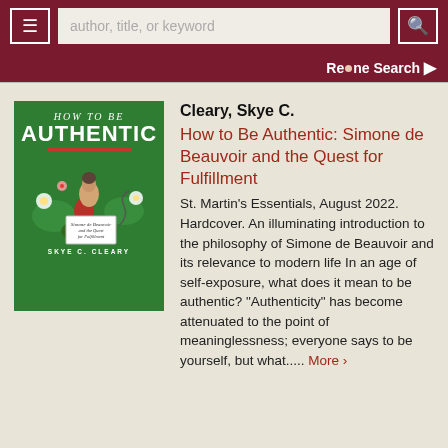[Figure (screenshot): Library catalog search bar with hamburger menu icon, text input placeholder 'author, title, or keyword', and search button with magnifying glass icon, all on dark red background]
Re•ne Search ›
[Figure (illustration): Book cover: 'How to Be Authentic: Simone de Beauvoir and the Quest for Fulfillment' by Skye C. Cleary. Green background with illustrated figure of a woman holding a sign with the subtitle, surrounded by flowers.]
Cleary, Skye C.
How to Be Authentic: Simone de Beauvoir and the Quest for Fulfillment
St. Martin's Essentials, August 2022. Hardcover. An illuminating introduction to the philosophy of Simone de Beauvoir and its relevance to modern life In an age of self-exposure, what does it mean to be authentic? "Authenticity" has become attenuated to the point of meaninglessness; everyone says to be yourself, but what..... More ›